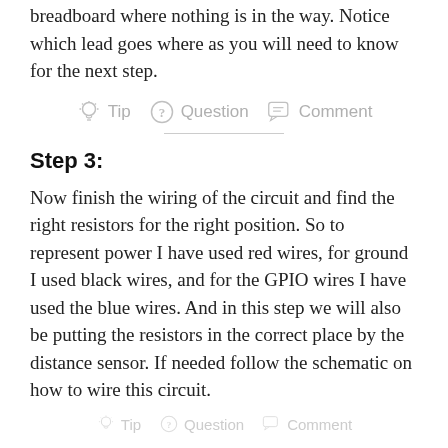breadboard where nothing is in the way. Notice which lead goes where as you will need to know for the next step.
[Figure (infographic): Tip, Question, Comment interactive buttons with icons]
Step 3:
Now finish the wiring of the circuit and find the right resistors for the right position. So to represent power I have used red wires, for ground I used black wires, and for the GPIO wires I have used the blue wires. And in this step we will also be putting the resistors in the correct place by the distance sensor. If needed follow the schematic on how to wire this circuit.
[Figure (infographic): Tip, Question, Comment interactive buttons with icons (partially visible at bottom)]